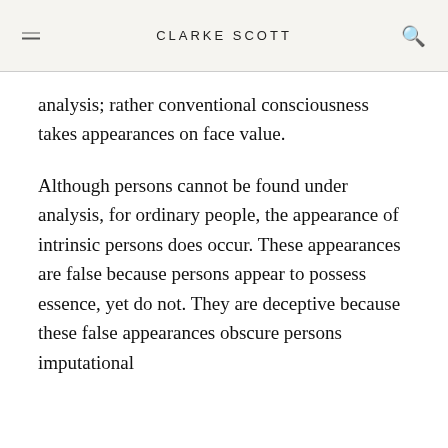CLARKE SCOTT
analysis; rather conventional consciousness takes appearances on face value.
Although persons cannot be found under analysis, for ordinary people, the appearance of intrinsic persons does occur. These appearances are false because persons appear to possess essence, yet do not. They are deceptive because these false appearances obscure persons imputational